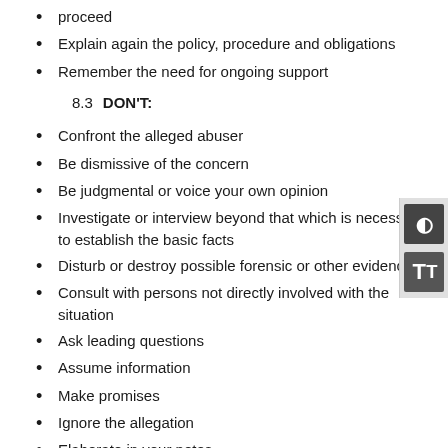proceed
Explain again the policy, procedure and obligations
Remember the need for ongoing support
8.3  DON'T:
Confront the alleged abuser
Be dismissive of the concern
Be judgmental or voice your own opinion
Investigate or interview beyond that which is necessary to establish the basic facts
Disturb or destroy possible forensic or other evidence
Consult with persons not directly involved with the situation
Ask leading questions
Assume information
Make promises
Ignore the allegation
Elaborate in your notes